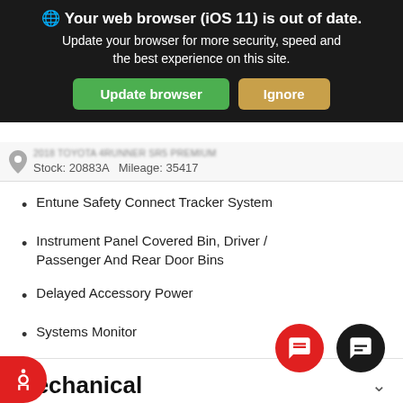[Figure (screenshot): Browser update warning banner with dark background, globe icon, bold text 'Your web browser (iOS 11) is out of date.', subtext 'Update your browser for more security, speed and the best experience on this site.', green 'Update browser' button and tan 'Ignore' button]
Stock: 20883A  Mileage: 35417
Entune Safety Connect Tracker System
Instrument Panel Covered Bin, Driver / Passenger And Rear Door Bins
Delayed Accessory Power
Systems Monitor
Mechanical
Engine: 4.0L V6 DOHC SMPI
Transmission: Electronic 5-Speed Automatic w/OD
3.727 Axle Ratio